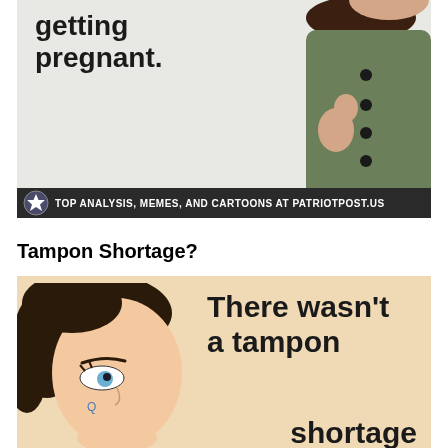[Figure (photo): Vintage-style image of a woman in a green coat with fur collar, with bold text reading 'getting pregnant.' and a banner at the bottom reading 'TOP ANALYSIS, MEMES, AND CARTOONS AT PATRIOTPOST.US']
Tampon Shortage?
[Figure (illustration): Retro comic-style illustration of a woman with dark hair looking up, with bold text reading 'There wasn't a tampon shortage' (cut off at bottom)]